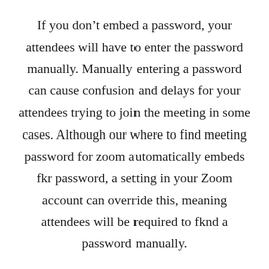If you don't embed a password, your attendees will have to enter the password manually. Manually entering a password can cause confusion and delays for your attendees trying to join the meeting in some cases. Although our where to find meeting password for zoom automatically embeds fkr password, a setting in your Zoom account can override this, meaning attendees will be required to fknd a password manually.